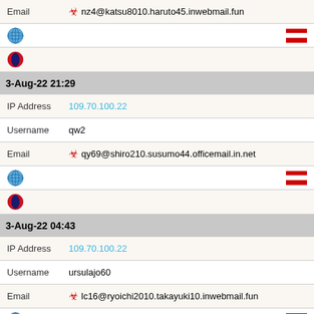| Email | ☣ nz4@katsu8010.haruto45.inwebmail.fun |
| [globe icon] | [AT flag] |
| [opera icon] |  |
| 3-Aug-22 21:29 |  |
| IP Address | 109.70.100.22 |
| Username | qw2 |
| Email | ☣ qy69@shiro210.susumo44.officemail.in.net |
| [globe icon] | [AT flag] |
| [opera icon] |  |
| 3-Aug-22 04:43 |  |
| IP Address | 109.70.100.22 |
| Username | ursulajo60 |
| Email | ☣ lc16@ryoichi2010.takayuki10.inwebmail.fun |
| [globe icon] | [AT flag] |
| [opera icon] |  |
| 3-Aug-22 04:43 |  |
| IP Address | 109.70.100.22 |